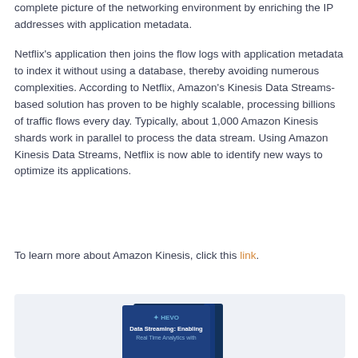complete picture of the networking environment by enriching the IP addresses with application metadata.
Netflix's application then joins the flow logs with application metadata to index it without using a database, thereby avoiding numerous complexities. According to Netflix, Amazon's Kinesis Data Streams-based solution has proven to be highly scalable, processing billions of traffic flows every day. Typically, about 1,000 Amazon Kinesis shards work in parallel to process the data stream. Using Amazon Kinesis Data Streams, Netflix is now able to identify new ways to optimize its applications.
To learn more about Amazon Kinesis, click this link.
[Figure (photo): A blue book cover showing a HEVO logo with a star icon and the title 'Data Streaming: Enabling Real Time Analytics with...' against a light blue/grey background.]